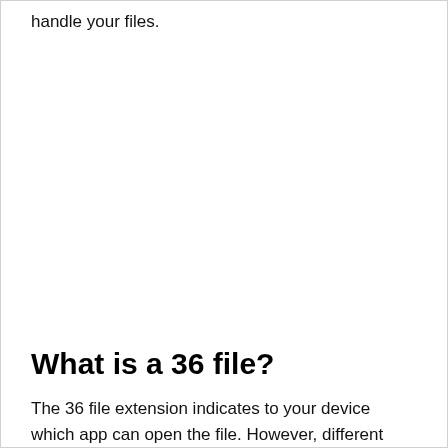handle your files.
What is a 36 file?
The 36 file extension indicates to your device which app can open the file. However, different